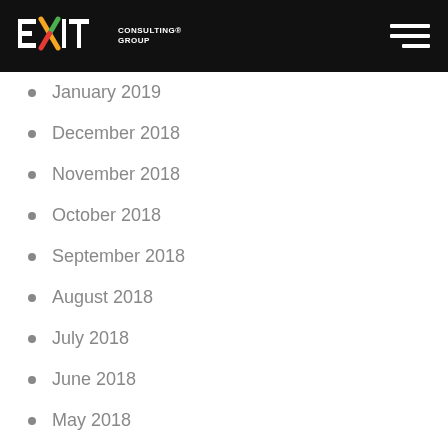EXIT CONSULTING GROUP
January 2019
December 2018
November 2018
October 2018
September 2018
August 2018
July 2018
June 2018
May 2018
April 2018
March 2018
January 2018